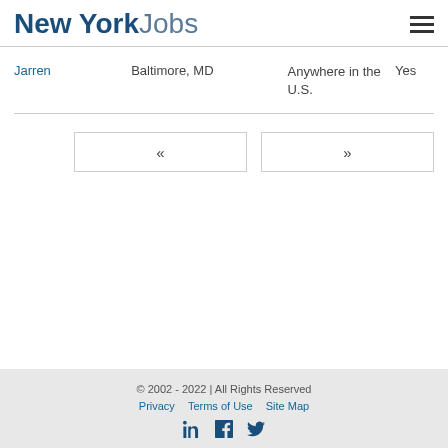New York Jobs
| Name | Location | Willing to Relocate | Sponsor |
| --- | --- | --- | --- |
| Jarren | Baltimore, MD | Anywhere in the U.S. | Yes |
« »
© 2002 - 2022 | All Rights Reserved  Privacy  Terms of Use  Site Map